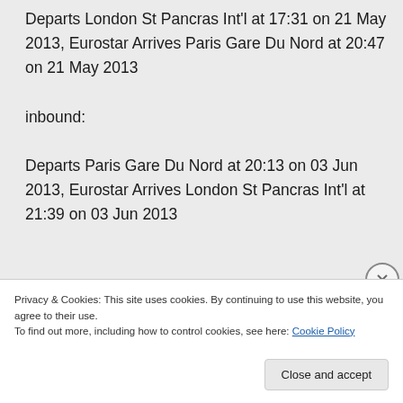Departs London St Pancras Int'l at 17:31 on 21 May 2013, Eurostar Arrives Paris Gare Du Nord at 20:47 on 21 May 2013

inbound:

Departs Paris Gare Du Nord at 20:13 on 03 Jun 2013, Eurostar Arrives London St Pancras Int'l at 21:39 on 03 Jun 2013
Privacy & Cookies: This site uses cookies. By continuing to use this website, you agree to their use.
To find out more, including how to control cookies, see here: Cookie Policy